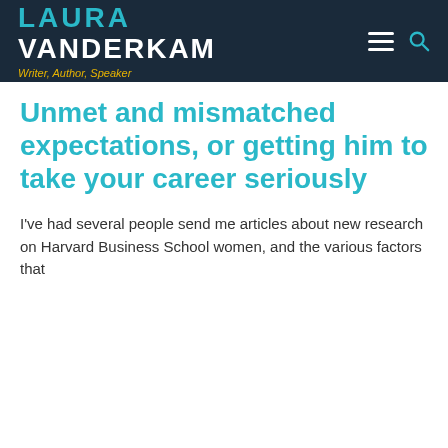LAURA VANDERKAM — Writer, Author, Speaker
Unmet and mismatched expectations, or getting him to take your career seriously
I've had several people send me articles about new research on Harvard Business School women, and the various factors that